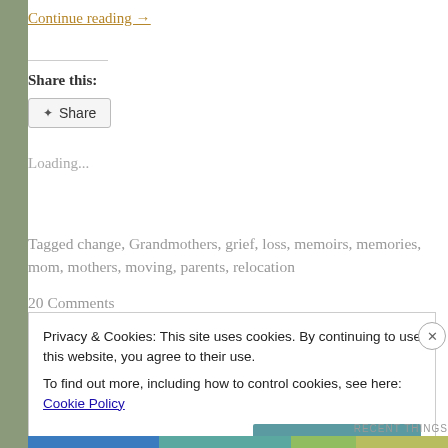Continue reading →
Share this:
Share
Loading...
Tagged change, Grandmothers, grief, loss, memoirs, memories, mom, mothers, moving, parents, relocation
20 Comments
Privacy & Cookies: This site uses cookies. By continuing to use this website, you agree to their use.
To find out more, including how to control cookies, see here: Cookie Policy
Close and accept